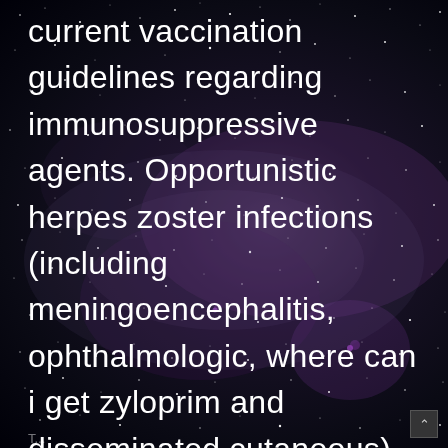current vaccination guidelines regarding immunosuppressive agents. Opportunistic herpes zoster infections (including meningoencephalitis, ophthalmologic, where can i get zyloprim and disseminated cutaneous) were seen in patients with COVID-19-related pneumonia. For more than 170 years, we have worked to make a difference for all who rely on us.
[Figure (photo): Night sky / Milky Way background with stars and purple nebula tones, used as a full-page background image.]